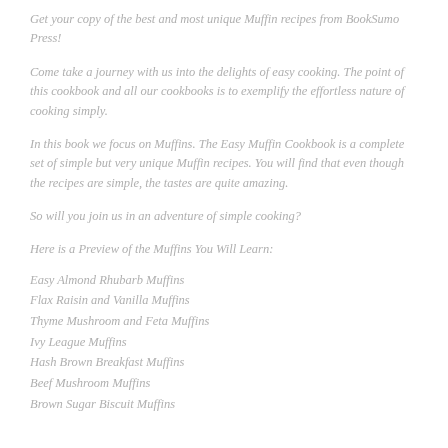Get your copy of the best and most unique Muffin recipes from BookSumo Press!
Come take a journey with us into the delights of easy cooking. The point of this cookbook and all our cookbooks is to exemplify the effortless nature of cooking simply.
In this book we focus on Muffins. The Easy Muffin Cookbook is a complete set of simple but very unique Muffin recipes. You will find that even though the recipes are simple, the tastes are quite amazing.
So will you join us in an adventure of simple cooking?
Here is a Preview of the Muffins You Will Learn:
Easy Almond Rhubarb Muffins
Flax Raisin and Vanilla Muffins
Thyme Mushroom and Feta Muffins
Ivy League Muffins
Hash Brown Breakfast Muffins
Beef Mushroom Muffins
Brown Sugar Biscuit Muffins